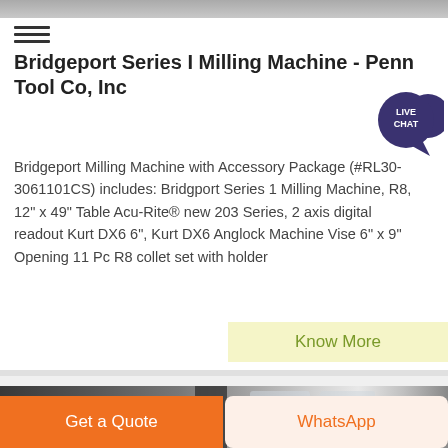[Figure (photo): Top edge of a milling machine photo, partially visible at the very top of the page]
Bridgeport Series I Milling Machine - Penn Tool Co, Inc
[Figure (infographic): Live Chat speech bubble badge in dark purple/blue with white text 'LIVE CHAT']
Bridgeport Milling Machine with Accessory Package (#RL30-3061101CS) includes: Bridgport Series 1 Milling Machine, R8, 12" x 49" Table Acu-Rite® new 203 Series, 2 axis digital readout Kurt DX6 6", Kurt DX6 Anglock Machine Vise 6" x 9" Opening 11 Pc R8 collet set with holder
Know More
[Figure (photo): Industrial workshop or machine shop interior showing metal pipes, columns, and windows with natural light]
Get a Quote
WhatsApp